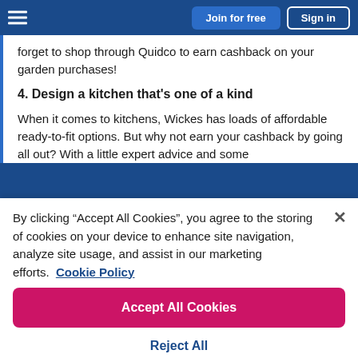Join for free | Sign in
forget to shop through Quidco to earn cashback on your garden purchases!
4. Design a kitchen that's one of a kind
When it comes to kitchens, Wickes has loads of affordable ready-to-fit options. But why not earn your cashback by going all out? With a little expert advice and some
By clicking “Accept All Cookies”, you agree to the storing of cookies on your device to enhance site navigation, analyze site usage, and assist in our marketing efforts. Cookie Policy
Accept All Cookies
Reject All
Cookies Settings